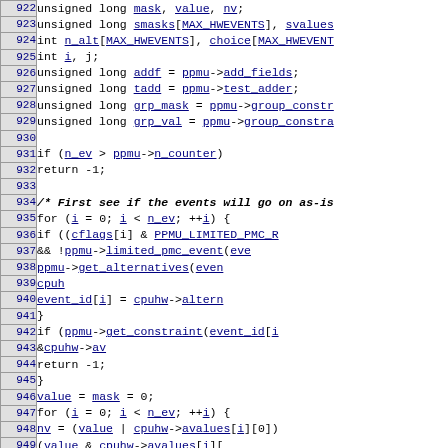Source code listing, lines 922-951, showing C function body with variable declarations, control flow (for loops, if statements), and function calls related to hardware performance monitoring unit (PPMU) event scheduling.